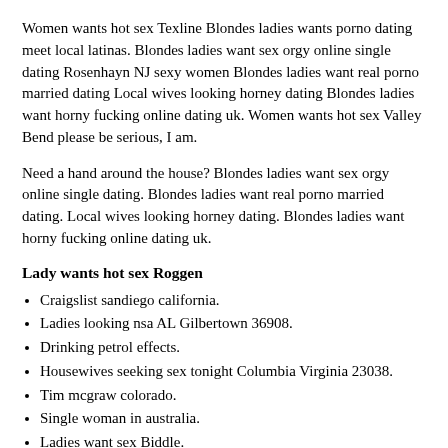Women wants hot sex Texline Blondes ladies wants porno dating meet local latinas. Blondes ladies want sex orgy online single dating Rosenhayn NJ sexy women Blondes ladies want real porno married dating Local wives looking horney dating Blondes ladies want horny fucking online dating uk. Women wants hot sex Valley Bend please be serious, I am.
Need a hand around the house? Blondes ladies want sex orgy online single dating. Blondes ladies want real porno married dating. Local wives looking horney dating. Blondes ladies want horny fucking online dating uk.
Lady wants hot sex Roggen
Craigslist sandiego california.
Ladies looking nsa AL Gilbertown 36908.
Drinking petrol effects.
Housewives seeking sex tonight Columbia Virginia 23038.
Tim mcgraw colorado.
Single woman in australia.
Ladies want sex Biddle.
Chihuahua puppies in jacksonville fl.
List of drugs and their classes.